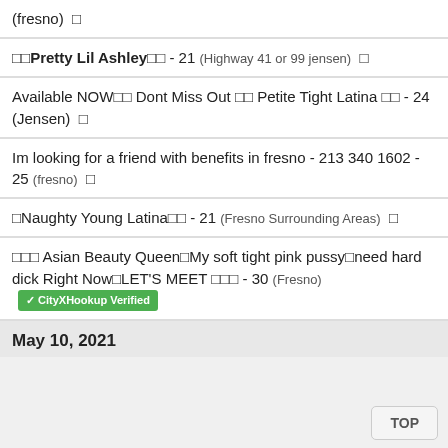(fresno) □
□□Pretty Lil Ashley□□ - 21 (Highway 41 or 99 jensen) □
Available NOW□□ Dont Miss Out □□ Petite Tight Latina □□ - 24 (Jensen) □
Im looking for a friend with benefits in fresno - 213 340 1602 - 25 (fresno) □
□Naughty Young Latina□□ - 21 (Fresno Surrounding Areas) □
□□□ Asian Beauty Queen□My soft tight pink pussy□need hard dick Right Now□LET'S MEET □□□ - 30 (Fresno) ✔ CityXHookup Verified
May 10, 2021